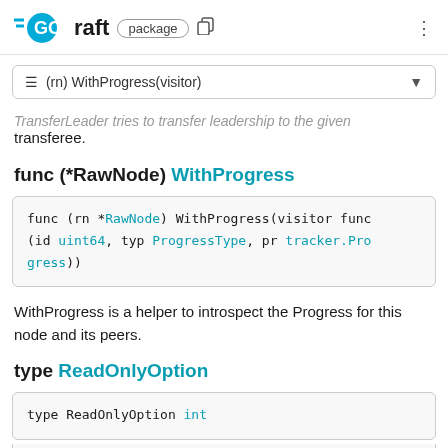GO raft package
(rn) WithProgress(visitor)
TransferLeader tries to transfer leadership to the given transferee.
func (*RawNode) WithProgress
func (rn *RawNode) WithProgress(visitor func (id uint64, typ ProgressType, pr tracker.Progress))
WithProgress is a helper to introspect the Progress for this node and its peers.
type ReadOnlyOption
type ReadOnlyOption int